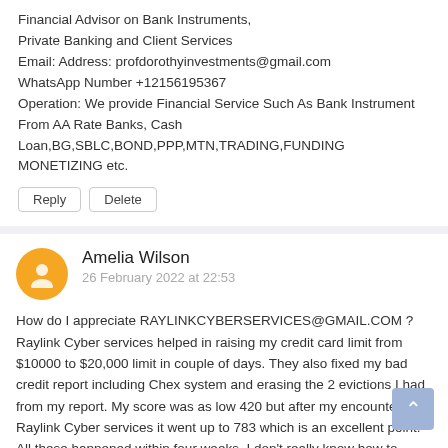Financial Advisor on Bank Instruments, Private Banking and Client Services Email: Address: profdorothyinvestments@gmail.com WhatsApp Number +12156195367 Operation: We provide Financial Service Such As Bank Instrument From AA Rate Banks, Cash Loan,BG,SBLC,BOND,PPP,MTN,TRADING,FUNDING MONETIZING etc.
Reply
Delete
Amelia Wilson
26 February 2022 at 22:53
How do I appreciate RAYLINKCYBERSERVICES@GMAIL.COM ? Raylink Cyber services helped in raising my credit card limit from $10000 to $20,000 limit in couple of days. They also fixed my bad credit report including Chex system and erasing the 2 evictions I had from my report. My score was as low 420 but after my encounter with Raylink Cyber services it went up to 783 which is an excellent point. All these happened within four weeks. I don't really know how to